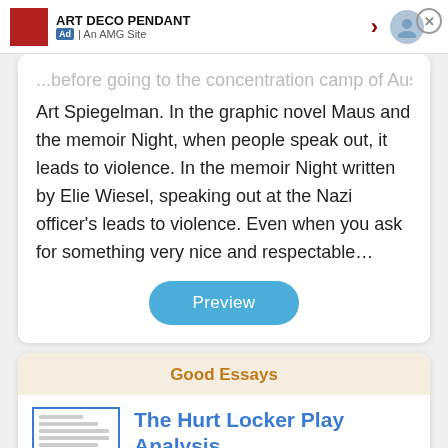[Figure (screenshot): Ad banner for Art Deco Pendant, An AMG Site, with red thumbnail, arrow, person icon, and close button]
...before going to the concentration camp of Auschwitz, Art Spiegelman. In the graphic novel Maus and the memoir Night, when people speak out, it leads to violence. In the memoir Night written by Elie Wiesel, speaking out at the Nazi officer's leads to violence. Even when you ask for something very nice and respectable…
[Figure (screenshot): Preview button — rounded blue button with white text]
Good Essays
The Hurt Locker Play Analysis
1097 Words
[Figure (screenshot): Thumbnail of essay document with blue border and grey text lines]